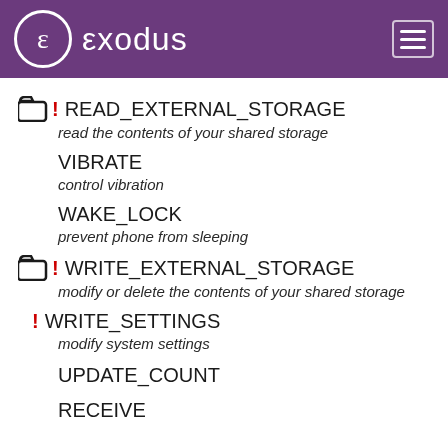exodus
READ_EXTERNAL_STORAGE – read the contents of your shared storage
VIBRATE – control vibration
WAKE_LOCK – prevent phone from sleeping
WRITE_EXTERNAL_STORAGE – modify or delete the contents of your shared storage
WRITE_SETTINGS – modify system settings
UPDATE_COUNT
RECEIVE